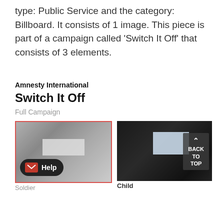type: Public Service and the category: Billboard. It consists of 1 image. This piece is part of a campaign called 'Switch It Off' that consists of 3 elements.
Amnesty International
Switch It Off
Full Campaign
[Figure (photo): Dark image of a room with a glowing screen/projection visible, people silhouetted. Help button overlay. Red border. Label: Soldier.]
Soldier
[Figure (photo): Dark room with a bright projected screen showing a figure, person silhouetted in foreground. Back To Top overlay. Label: Child.]
Child